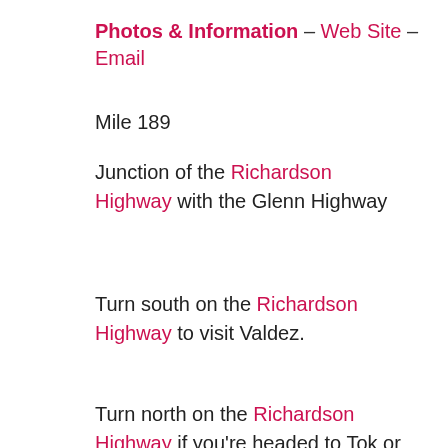Photos & Information – Web Site – Email
Mile 189
Junction of the Richardson Highway with the Glenn Highway
Turn south on the Richardson Highway to visit Valdez.
Turn north on the Richardson Highway if you're headed to Tok or Delta Junction.